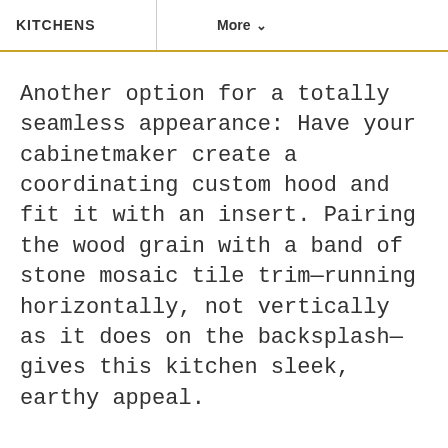KITCHENS   More
Another option for a totally seamless appearance: Have your cabinetmaker create a coordinating custom hood and fit it with an insert. Pairing the wood grain with a band of stone mosaic tile trim—running horizontally, not vertically as it does on the backsplash—gives this kitchen sleek, earthy appeal.